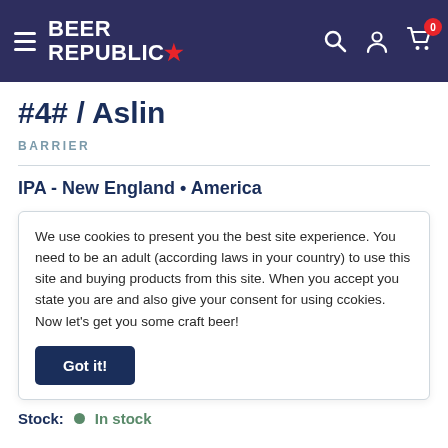Beer Republic — Navigation bar with logo, hamburger menu, search, account, and cart icons
#4# / Aslin
BARRIER
IPA - New England • America
We use cookies to present you the best site experience. You need to be an adult (according laws in your country) to use this site and buying products from this site. When you accept you state you are and also give your consent for using ccokies. Now let's get you some craft beer!
Got it!
Stock:    In stock